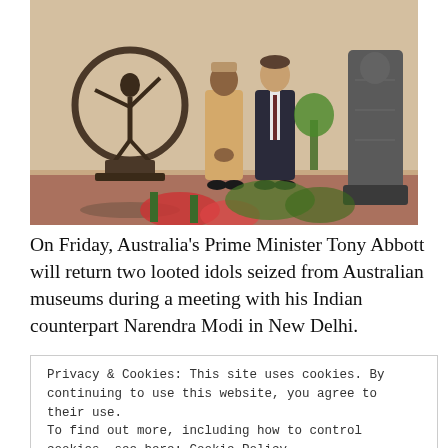[Figure (photo): Two men standing in front of Indian statues including a Nataraja (dancing Shiva) bronze on the left and a stone sculpture on the right, in an official reception setting with flowers in the foreground.]
On Friday, Australia's Prime Minister Tony Abbott will return two looted idols seized from Australian museums during a meeting with his Indian counterpart Narendra Modi in New Delhi.
Privacy & Cookies: This site uses cookies. By continuing to use this website, you agree to their use.
To find out more, including how to control cookies, see here: Cookie Policy
Close and accept
“gesture of good will” at a state reception at the Indian